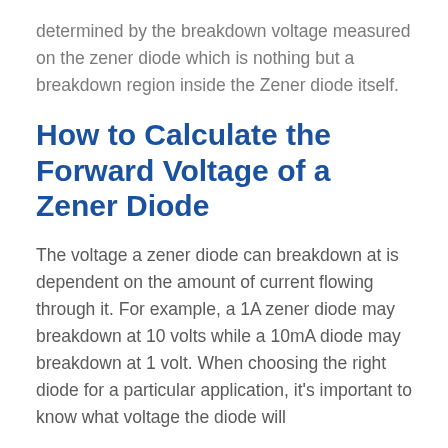determined by the breakdown voltage measured on the zener diode which is nothing but a breakdown region inside the Zener diode itself.
How to Calculate the Forward Voltage of a Zener Diode
The voltage a zener diode can breakdown at is dependent on the amount of current flowing through it. For example, a 1A zener diode may breakdown at 10 volts while a 10mA diode may breakdown at 1 volt. When choosing the right diode for a particular application, it's important to know what voltage the diode will